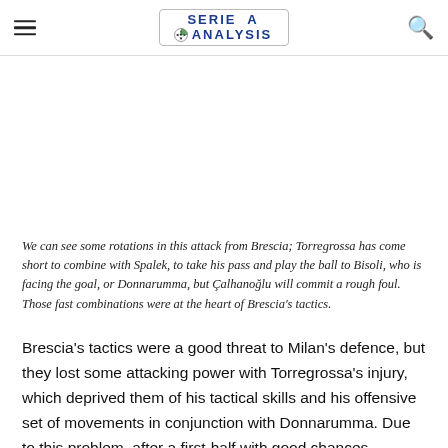SERIE A ANALYSIS
We can see some rotations in this attack from Brescia; Torregrossa has come short to combine with Spalek, to take his pass and play the ball to Bisoli, who is facing the goal, or Donnarumma, but Çalhanoğlu will commit a rough foul. Those fast combinations were at the heart of Brescia's tactics.
Brescia's tactics were a good threat to Milan's defence, but they lost some attacking power with Torregrossa's injury, which deprived them of his tactical skills and his offensive set of movements in conjunction with Donnarumma. Due to this problem, after a first-half with good chances (especially for Sabelli and Bisoli), Brescia's manager Corini lost something